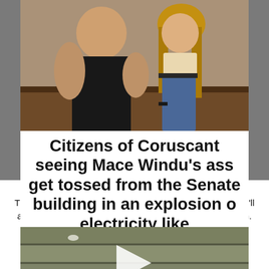[Figure (photo): Two people standing indoors – a muscular person in a dark t-shirt on the left and a woman with long blonde hair in a crop top and jeans on the right. Background shows wooden paneling.]
Citizens of Coruscant seeing Mace Windu's ass get tossed from the Senate building in an explosion of electricity like
[Figure (photo): Video thumbnail showing a wooden fence or deck surface. A white play button triangle is overlaid in the center.]
This website uses cookies to improve your experience. We'll assume you're ok with this, but you can opt-out if you wish.
Cookie settings    ACCEPT